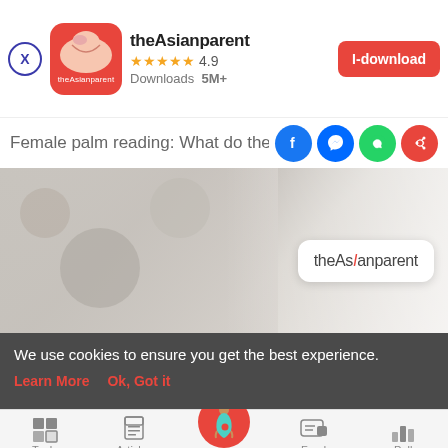[Figure (screenshot): theAsianparent app banner with close button, app icon, name, rating 4.9, downloads 5M+, and download button]
Female palm reading: What do these
[Figure (screenshot): Article hero image with theAsianparent logo overlay in white box]
7 min read
READ MORE →
[Figure (screenshot): Bottom navigation bar with Tools, Articles, center pregnancy icon, Feed, Poll icons]
We use cookies to ensure you get the best experience.
Learn More   Ok, Got it